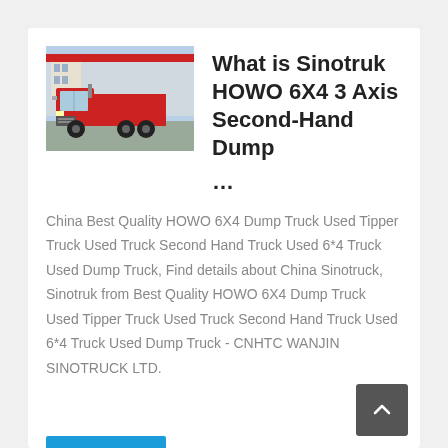[Figure (photo): Red Sinotruk HOWO truck parked in front of a building, front-side view]
What is Sinotruk HOWO 6X4 3 Axis Second-Hand Dump …
China Best Quality HOWO 6X4 Dump Truck Used Tipper Truck Used Truck Second Hand Truck Used 6*4 Truck Used Dump Truck, Find details about China Sinotruck, Sinotruk from Best Quality HOWO 6X4 Dump Truck Used Tipper Truck Used Truck Second Hand Truck Used 6*4 Truck Used Dump Truck - CNHTC WANJIN SINOTRUCK LTD.